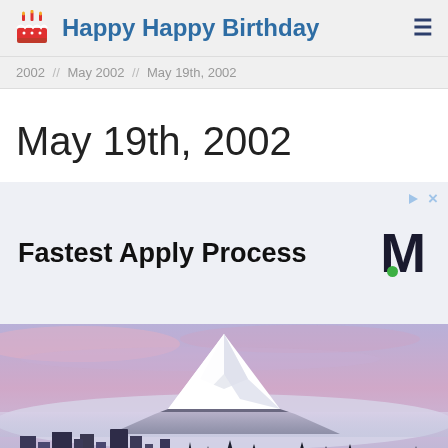Happy Happy Birthday
2002 // May 2002 // May 19th, 2002
May 19th, 2002
[Figure (infographic): Advertisement banner reading 'Fastest Apply Process' with a stylized letter M logo with a green dot]
[Figure (photo): Cityscape with a snow-capped mountain (Mt. Rainier) in the background at dusk/dawn with purple and pink sky]